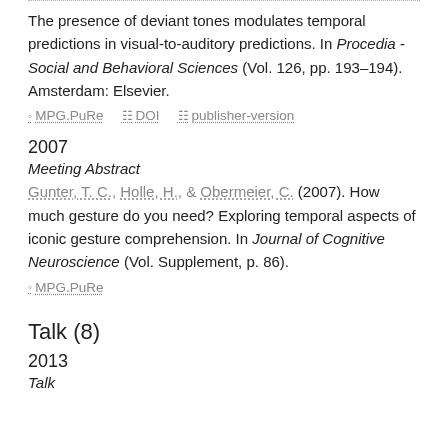The presence of deviant tones modulates temporal predictions in visual-to-auditory predictions. In Procedia - Social and Behavioral Sciences (Vol. 126, pp. 193–194). Amsterdam: Elsevier.
MPG.PuRe   DOI   publisher-version
2007
Meeting Abstract
Gunter, T. C., Holle, H., & Obermeier, C. (2007). How much gesture do you need? Exploring temporal aspects of iconic gesture comprehension. In Journal of Cognitive Neuroscience (Vol. Supplement, p. 86).
MPG.PuRe
Talk (8)
2013
Talk